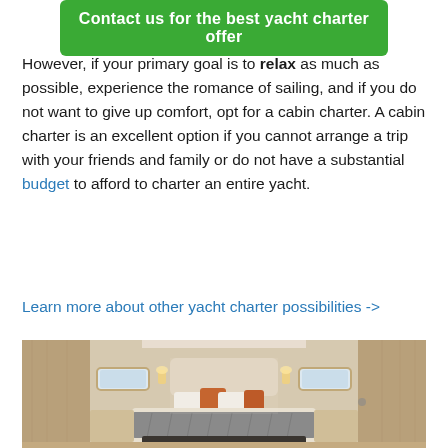Contact us for the best yacht charter offer
However, if your primary goal is to relax as much as possible, experience the romance of sailing, and if you do not want to give up comfort, opt for a cabin charter. A cabin charter is an excellent option if you cannot arrange a trip with your friends and family or do not have a substantial budget to afford to charter an entire yacht.
Learn more about other yacht charter possibilities ->
[Figure (photo): Interior of a yacht cabin showing a double bed with orange and white pillows, a grey blanket, warm lighting from wall sconces, wooden cabinetry on both sides, and small porthole windows.]